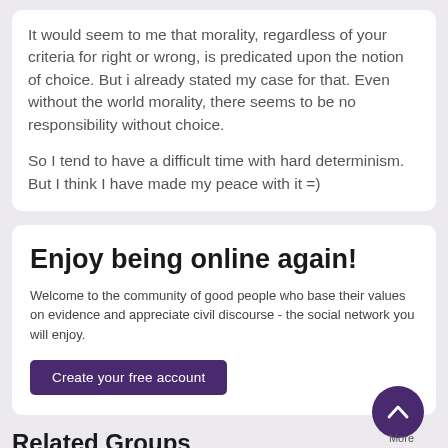It would seem to me that morality, regardless of your criteria for right or wrong, is predicated upon the notion of choice. But i already stated my case for that. Even without the world morality, there seems to be no responsibility without choice.

So I tend to have a difficult time with hard determinism. But I think I have made my peace with it =)
Enjoy being online again!
Welcome to the community of good people who base their values on evidence and appreciate civil discourse - the social network you will enjoy.
Create your free account
Related Groups